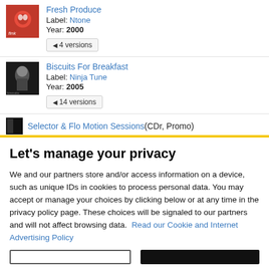Fresh Produce — Label: Ntone — Year: 2000 — 4 versions
Biscuits For Breakfast — Label: Ninja Tune — Year: 2005 — 14 versions
Selector & Flo Motion Sessions (CDr, Promo)
Let's manage your privacy
We and our partners store and/or access information on a device, such as unique IDs in cookies to process personal data. You may accept or manage your choices by clicking below or at any time in the privacy policy page. These choices will be signaled to our partners and will not affect browsing data. Read our Cookie and Internet Advertising Policy